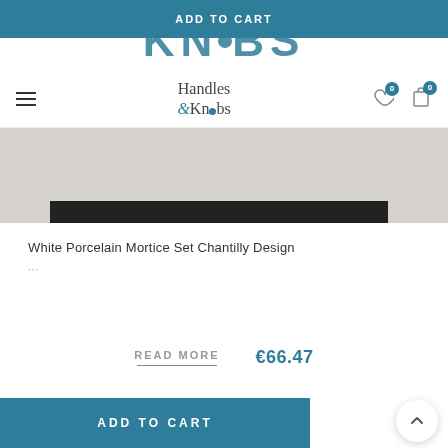ADD TO CART
KNOBS
Handles & Knobs — navigation bar with hamburger menu, logo, wishlist icon (0), cart icon (0)
[Figure (photo): Product image area: grey background with black bar representing a door handle/mortice set product photo]
White Porcelain Mortice Set Chantilly Design
...
READ MORE
€66.47
ADD TO CART